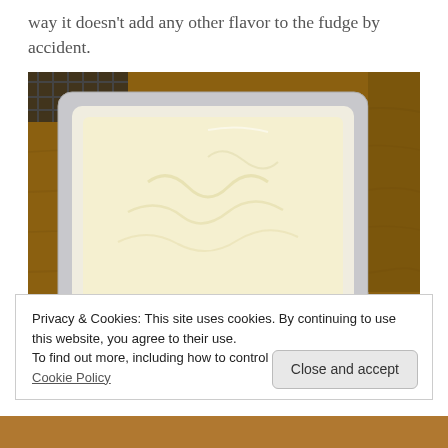way it doesn't add any other flavor to the fudge by accident.
[Figure (photo): A white square baking pan filled with pale cream-colored fudge mixture, sitting on a wooden surface. A second partially visible white pan is in the lower right corner.]
Privacy & Cookies: This site uses cookies. By continuing to use this website, you agree to their use.
To find out more, including how to control cookies, see here: Cookie Policy
Close and accept